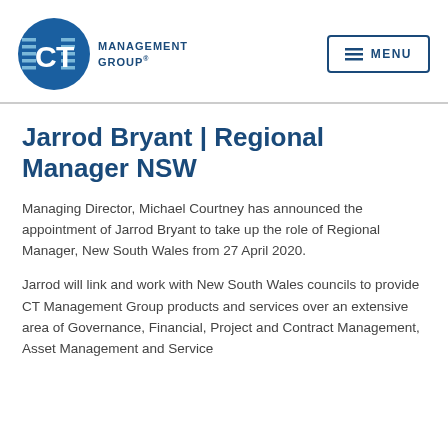[Figure (logo): CT Management Group logo — blue circle with CT letters and horizontal lines, with 'MANAGEMENT GROUP' text to the right]
Jarrod Bryant | Regional Manager NSW
Managing Director, Michael Courtney has announced the appointment of Jarrod Bryant to take up the role of Regional Manager, New South Wales from 27 April 2020.
Jarrod will link and work with New South Wales councils to provide CT Management Group products and services over an extensive area of Governance, Financial, Project and Contract Management, Asset Management and Service